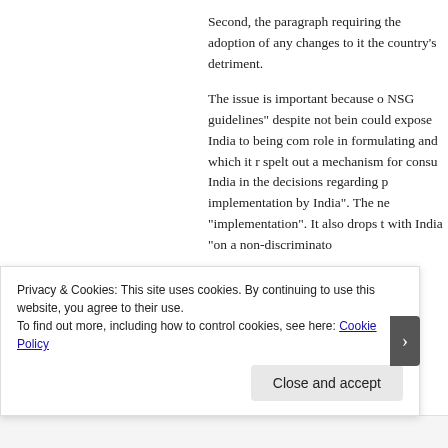Second, the paragraph requiring the adoption of any changes to it the country's detriment.
The issue is important because of NSG guidelines" despite not being could expose India to being com role in formulating and which it r spelt out a mechanism for consu India in the decisions regarding p implementation by India". The ne "implementation". It also drops t with India "on a non-discriminato
Privacy & Cookies: This site uses cookies. By continuing to use this website, you agree to their use.
To find out more, including how to control cookies, see here: Cookie Policy
Close and accept